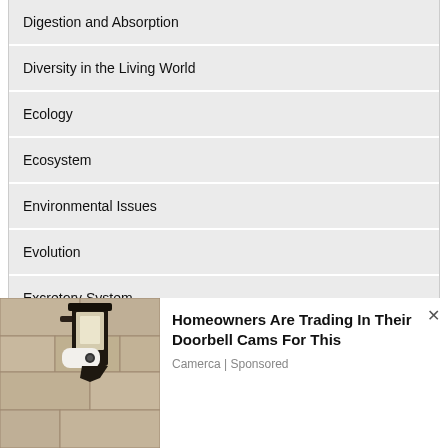Digestion and Absorption
Diversity in the Living World
Ecology
Ecosystem
Environmental Issues
Evolution
Excretory System
Flowering Plants
We use cookies on our website to give you the most relevant experience by remembering your preferences and repeat visits. By clicking “Accept”, you consent to the use of ALL the cookies.
Do not sell my personal information.
[Figure (screenshot): Advertisement overlay showing a security camera mounted on a wall with text 'Homeowners Are Trading In Their Doorbell Cams For This' from Camerca (Sponsored)]